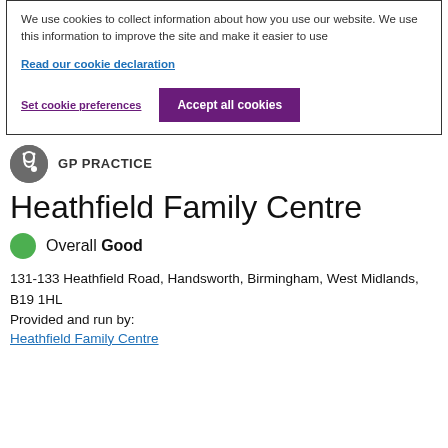We use cookies to collect information about how you use our website. We use this information to improve the site and make it easier to use
Read our cookie declaration
Set cookie preferences
Accept all cookies
GP PRACTICE
Heathfield Family Centre
Overall Good
131-133 Heathfield Road, Handsworth, Birmingham, West Midlands, B19 1HL
Provided and run by:
Heathfield Family Centre